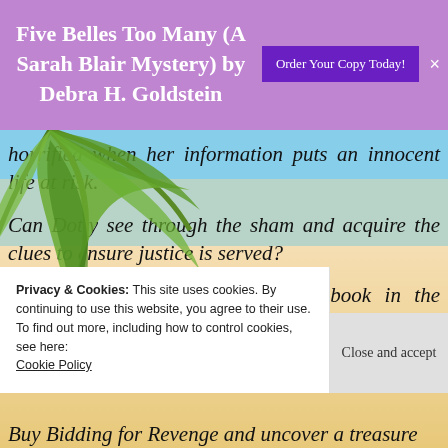Five Belles Too Many (A Sarah Blair Mystery) by Debra H. Goldstein
horrified when her information puts an innocent life at risk.
Can Dotty see through the sham and acquire the clues to ensure justice is served?
Bidding for Revenge is the third book in the captivating Dotty Savers Antique Mystery series.
Privacy & Cookies: This site uses cookies. By continuing to use this website, you agree to their use. To find out more, including how to control cookies, see here: Cookie Policy
Close and accept
Buy Bidding for Revenge and uncover a treasure